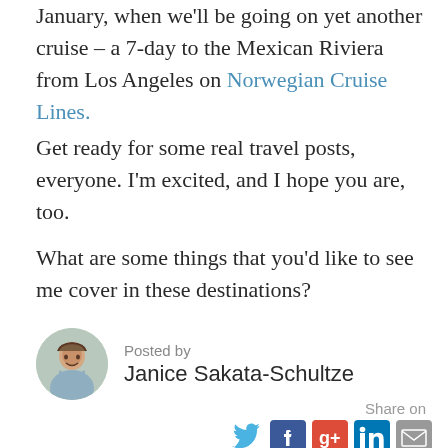January, when we'll be going on yet another cruise – a 7-day to the Mexican Riviera from Los Angeles on Norwegian Cruise Lines.
Get ready for some real travel posts, everyone. I'm excited, and I hope you are, too.
What are some things that you'd like to see me cover in these destinations?
Posted by
Janice Sakata-Schultze
Share on